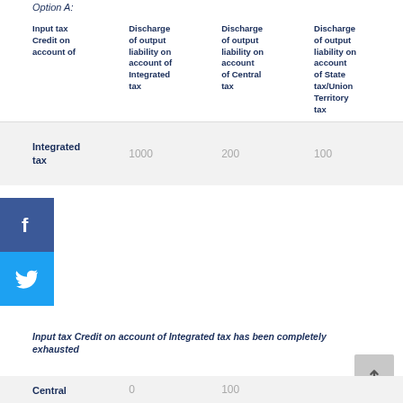Option A:
| Input tax Credit on account of | Discharge of output liability on account of Integrated tax | Discharge of output liability on account of Central tax | Discharge of output liability on account of State tax/Union Territory tax |
| --- | --- | --- | --- |
| Integrated tax | 1000 | 200 | 100 |
| Central | 0 | 100 |  |
Input tax Credit on account of Integrated tax has been completely exhausted